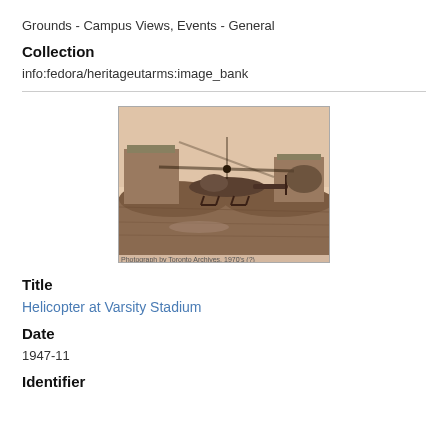Grounds - Campus Views, Events - General
Collection
info:fedora/heritageutarms:image_bank
[Figure (photo): Sepia-toned historical photograph of a helicopter landed or hovering low at Varsity Stadium, with mounds of dirt and buildings visible in the background on a muddy field.]
Title
Helicopter at Varsity Stadium
Date
1947-11
Identifier